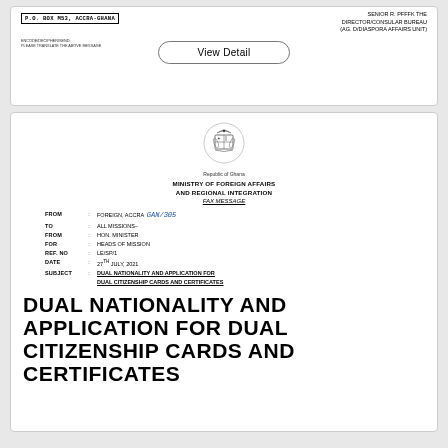P.O. BOX M53, ACCRA-GHANA
SENIOR R. PFFFK THE DIRECTOR/CONSULAR BUREAU (AG. D/DIASPORA AFFAIRS UNIT)
ENCODE/DECIPHER/SEND: PLEASE TRANSLATE THE ABOVE MESSAGE
View Detail
[Figure (logo): Ghana coat of arms / Republic of Ghana emblem]
Republic of Ghana
MINISTRY OF FOREIGN AFFAIRS
AND REGIONAL INTEGRATION
FAX MESSAGE
FROM : FOREIGN, ACCRA GAN/305
TO : ALL MISSIONS
FROM : HON. MINISTER
FOR : HEADS OF MISSION
REF. NO : LE/SP/1
DATE : 27TH JULY, 2021
SUBJECT : DUAL NATIONALITY AND APPLICATION FOR DUAL CITIZENSHIP CARDS AND CERTIFICATES
DUAL NATIONALITY AND APPLICATION FOR DUAL CITIZENSHIP CARDS AND CERTIFICATES